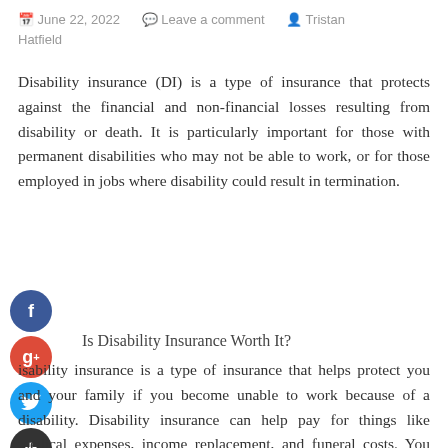June 22, 2022   Leave a comment   Tristan Hatfield
Disability insurance (DI) is a type of insurance that protects against the financial and non-financial losses resulting from disability or death. It is particularly important for those with permanent disabilities who may not be able to work, or for those employed in jobs where disability could result in termination.
Is Disability Insurance Worth It?
Disability insurance is a type of insurance that helps protect you and your family if you become unable to work because of a disability. Disability insurance can help pay for things like medical expenses, income replacement, and funeral costs. You can click to find out more information about genuine disability insurance online.